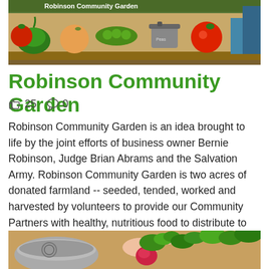[Figure (photo): Colorful mural depicting vegetables and fruits including peppers, tomatoes, peach, pea pods, and a pot, with text 'Robinson Community Garden' on a wall.]
Robinson Community Garden
👍 25   💬 0
Robinson Community Garden is an idea brought to life by the joint efforts of business owner Bernie Robinson, Judge Brian Abrams and the Salvation Army. Robinson Community Garden is two acres of donated farmland -- seeded, tended, worked and harvested by volunteers to provide our Community Partners with healthy, nutritious food to distribute to those in need in the Kingston area.
[Figure (photo): Close-up photo of a hand holding a small radish or vegetable with green leaves over a metal bowl.]